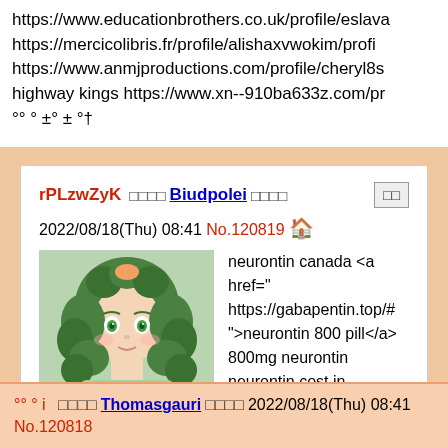https://www.educationbrothers.co.uk/profile/eslava... https://mercicolibris.fr/profile/alishaxvwokim/profi... https://www.anmjproductions.com/profile/cheryl8s... highway kings https://www.xn--910ba633z.com/pro... °° ° ±° ± °†
rPLzwZyK □□□□Biudpolei □□□□ 2022/08/18(Thu) 08:41 No.120819
[Figure (illustration): Anime-style avatar of a girl with green curly hair and green eyes, wearing a light green outfit]
neurontin canada <a href="https://gabapentin.top/#">neurontin 800 pill</a> 800mg neurontin neurontin cost in singapore https://gabapentin.top/ buy neurontin 300 mg
°° ° i □□□□Thomasgauri □□□□2022/08/18(Thu) 08:41 No.120818